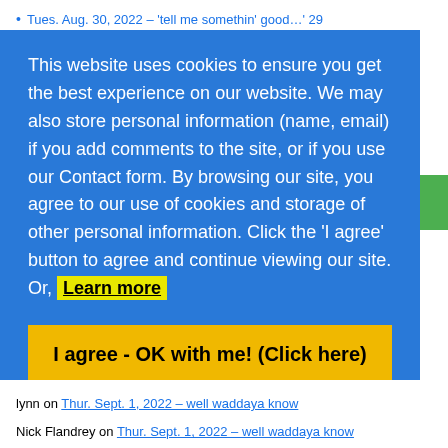Tues. Aug. 30, 2022 – 'tell me somethin' good…' 29
This website uses cookies to ensure you get the best experience on our website. We may also store personal information (name, email) if you add comments to the site, or if you use our Contact form. By browsing our site, you agree to our use of cookies and storage of other personal information. Click the 'I agree' button to agree and continue viewing our site. Or, Learn more
I agree - OK with me! (Click here)
lynn on Thur. Sept. 1, 2022 – well waddaya know
Nick Flandrey on Thur. Sept. 1, 2022 – well waddaya know
drwilliams on Thur. Sept. 1, 2022 – well waddaya know